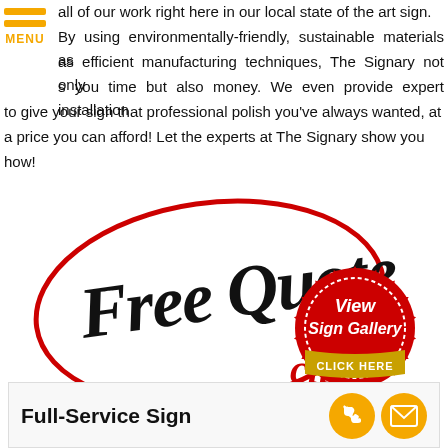all of our work right here in our local state of the art sign. By using environmentally-friendly, sustainable materials as well as efficient manufacturing techniques, The Signary not only saves you time but also money. We even provide expert installation to give your sign that professional polish you've always wanted, at a price you can afford! Let the experts at The Signary show you how!
[Figure (illustration): Free Quote banner with large handwritten black text 'Free Quote' circled in red, with 'click' in red script, and a red wax seal badge reading 'View Sign Gallery CLICK HERE' in gold and white]
Full-Service Sign
[Figure (illustration): Gold circle phone icon and gold circle email envelope icon]